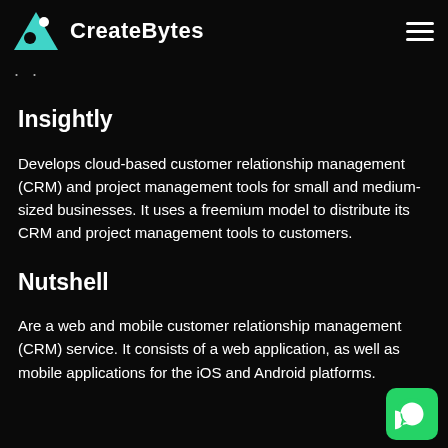CreateBytes
Insightly
Develops cloud-based customer relationship management (CRM) and project management tools for small and medium-sized businesses. It uses a freemium model to distribute its CRM and project management tools to customers.
Nutshell
Are a web and mobile customer relationship management (CRM) service. It consists of a web application, as well as mobile applications for the iOS and Android platforms.
[Figure (logo): WhatsApp button icon (green rounded square with phone handset icon)]